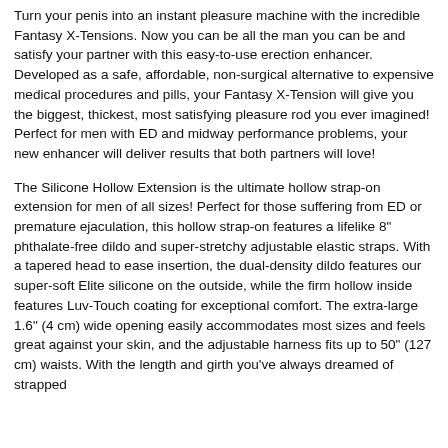Turn your penis into an instant pleasure machine with the incredible Fantasy X-Tensions. Now you can be all the man you can be and satisfy your partner with this easy-to-use erection enhancer. Developed as a safe, affordable, non-surgical alternative to expensive medical procedures and pills, your Fantasy X-Tension will give you the biggest, thickest, most satisfying pleasure rod you ever imagined! Perfect for men with ED and midway performance problems, your new enhancer will deliver results that both partners will love!
The Silicone Hollow Extension is the ultimate hollow strap-on extension for men of all sizes! Perfect for those suffering from ED or premature ejaculation, this hollow strap-on features a lifelike 8" phthalate-free dildo and super-stretchy adjustable elastic straps. With a tapered head to ease insertion, the dual-density dildo features our super-soft Elite silicone on the outside, while the firm hollow inside features Luv-Touch coating for exceptional comfort. The extra-large 1.6" (4 cm) wide opening easily accommodates most sizes and feels great against your skin, and the adjustable harness fits up to 50" (127 cm) waists. With the length and girth you've always dreamed of strapped